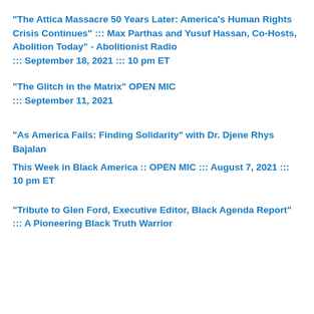“The Attica Massacre 50 Years Later: America’s Human Rights Crisis Continues” ::: Max Parthas and Yusuf Hassan, Co-Hosts, Abolition Today” - Abolitionist Radio ::: September 18, 2021 ::: 10 pm ET
“The Glitch in the Matrix” OPEN MIC ::: September 11, 2021
“As America Fails: Finding Solidarity” with Dr. Djene Rhys Bajalan
This Week in Black America :: OPEN MIC ::: August 7, 2021 ::: 10 pm ET
“Tribute to Glen Ford, Executive Editor, Black Agenda Report” ::: A Pioneering Black Truth Warrior